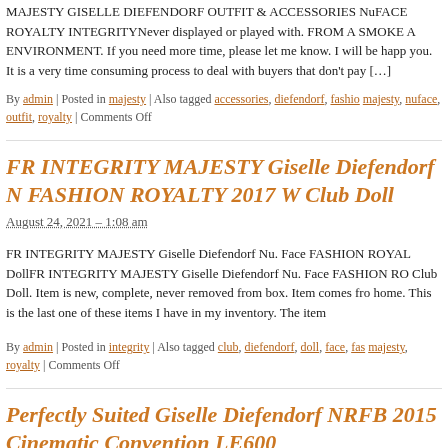MAJESTY GISELLE DIEFENDORF OUTFIT & ACCESSORIES NuFACE ROYALTY INTEGRITYNever displayed or played with. FROM A SMOKE A ENVIRONMENT. If you need more time, please let me know. I will be happ you. It is a very time consuming process to deal with buyers that don't pay [...]
By admin | Posted in majesty | Also tagged accessories, diefendorf, fashio majesty, nuface, outfit, royalty | Comments Off
FR INTEGRITY MAJESTY Giselle Diefendorf N FASHION ROYALTY 2017 W Club Doll
August 24, 2021 – 1:08 am
FR INTEGRITY MAJESTY Giselle Diefendorf Nu. Face FASHION ROYAL DollFR INTEGRITY MAJESTY Giselle Diefendorf Nu. Face FASHION RO Club Doll. Item is new, complete, never removed from box. Item comes fro home. This is the last one of these items I have in my inventory. The item
By admin | Posted in integrity | Also tagged club, diefendorf, doll, face, fas majesty, royalty | Comments Off
Perfectly Suited Giselle Diefendorf NRFB 2015 Cinematic Convention LE600
July 6, 2021 – 5:57 pm
Perfectly Suited Giselle Diefendorf NRFB 2015 IT Cinematic Convention L Toys Fashion Royalty. Perfectly Suited Giselle Diefendorf. Cinematic: The Toys Convention Collection. Limited Edition of 600 Dolls. Doll has never b